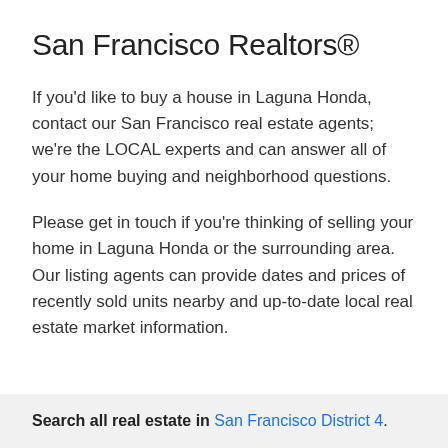San Francisco Realtors®
If you'd like to buy a house in Laguna Honda, contact our San Francisco real estate agents; we're the LOCAL experts and can answer all of your home buying and neighborhood questions.
Please get in touch if you're thinking of selling your home in Laguna Honda or the surrounding area. Our listing agents can provide dates and prices of recently sold units nearby and up-to-date local real estate market information.
Search all real estate in San Francisco District 4.